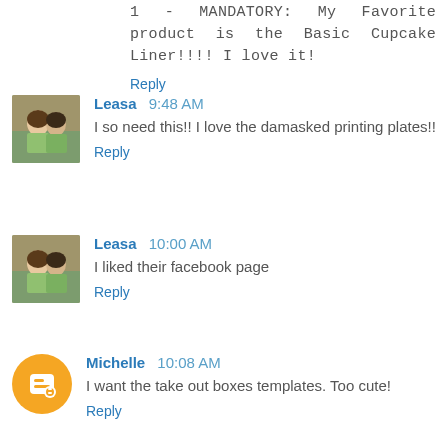1 - MANDATORY: My Favorite product is the Basic Cupcake Liner!!!! I love it!
Reply
Leasa 9:48 AM
I so need this!! I love the damasked printing plates!!
Reply
Leasa 10:00 AM
I liked their facebook page
Reply
Michelle 10:08 AM
I want the take out boxes templates. Too cute!
Reply